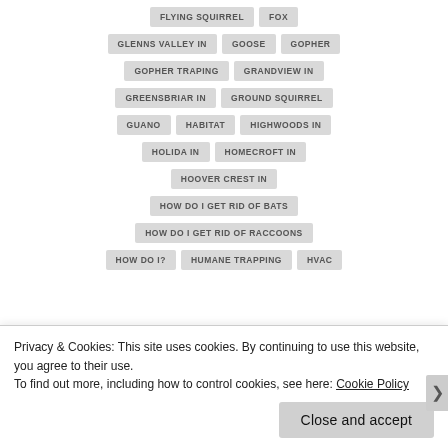FLYING SQUIRREL
FOX
GLENNS VALLEY IN
GOOSE
GOPHER
GOPHER TRAPING
GRANDVIEW IN
GREENSBRIAR IN
GROUND SQUIRREL
GUANO
HABITAT
HIGHWOODS IN
HOLIDA IN
HOMECROFT IN
HOOVER CREST IN
HOW DO I GET RID OF BATS
HOW DO I GET RID OF RACCOONS
HOW DO I?
HUMANE TRAPPING
HVAC
Privacy & Cookies: This site uses cookies. By continuing to use this website, you agree to their use.
To find out more, including how to control cookies, see here: Cookie Policy